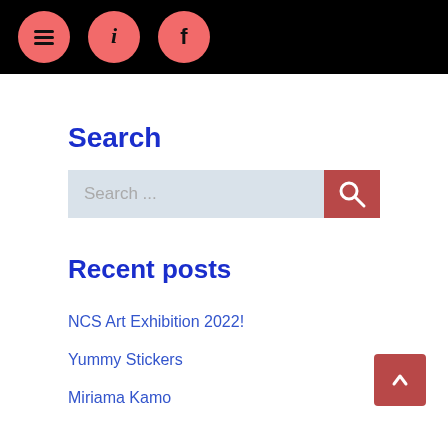Navigation icons: menu, info, facebook
Search
Search ...
Recent posts
NCS Art Exhibition 2022!
Yummy Stickers
Miriama Kamo